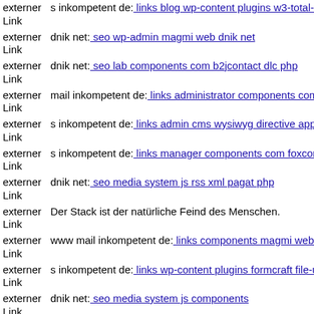externer Link - s inkompetent de: links blog wp-content plugins w3-total-ca...
externer Link - dnik net: seo wp-admin magmi web dnik net
externer Link - dnik net: seo lab components com b2jcontact dlc php
externer Link - mail inkompetent de: links administrator components com j...
externer Link - s inkompetent de: links admin cms wysiwyg directive app e...
externer Link - s inkompetent de: links manager components com foxconta...
externer Link - dnik net: seo media system js rss xml pagat php
externer Link - Der Stack ist der natürliche Feind des Menschen.
externer Link - www mail inkompetent de: links components magmi web m...
externer Link - s inkompetent de: links wp-content plugins formcraft file-u...
externer Link - dnik net: seo media system js components